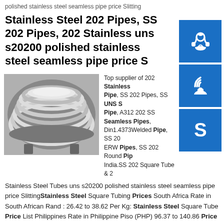polished stainless steel seamless pipe price Slitting
Stainless Steel 202 Pipes, SS 202 Pipes, 202 Stainless uns s20200 polished stainless steel seamless pipe price S
[Figure (photo): Stainless steel pipes/tubes stacked in a coil bundle, black and white photo]
Top supplier of 202 Stainless Pipe, SS 202 Pipes, SS UNS S Pipe, A312 202 SS Seamless Pipes, Din1.4373Welded Pipe, SS 20 ERW Pipes, SS 202 Round Pip India.SS 202 Square Tube & 2 Stainless Steel Tubes uns s20200 polished stainless steel seamless pipe price SlittingStainless Steel Square Tubing Prices South Africa Rate in South African Rand : 26.42 to 38.62 Per Kg: Stainless Steel Square Tube Price List Philippines Rate in Philippine Piso (PHP) 96.37 to 140.86 Price Per Kg: Stainless Steel Square Tubing Price Per Foot Rate in INR 130 to 190 Per Kg: Ss 304 Square Tube Price List in India Rate in INR 130 to 190 Per KgSS 202 Pipe Manufacturer in Mumbai India - SS 202 Pipes uns s20200 polished stainless steel seamless